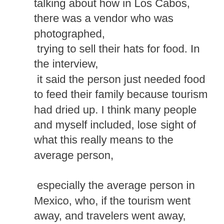talking about how in Los Cabos, there was a vendor who was photographed, trying to sell their hats for food. In the interview, it said the person just needed food to feed their family because tourism had dried up. I think many people and myself included, lose sight of what this really means to the average person,

especially the average person in Mexico, who, if the tourism went away, and travelers went away, and their business was considered non-essential, they just wouldn't be able to feed their families anymore.
(Safety in Mexico During The Pandemic). I mentioned in our last video update that we made, that when people lose the ability to work and feed their family, that's when good people do bad things and we've actually seen – or we haven't seen with